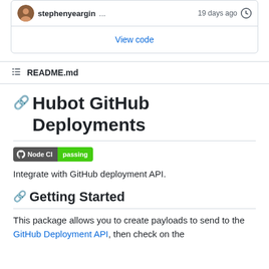[Figure (screenshot): GitHub commit card showing avatar, username 'stephenyeargin', ellipsis button, '19 days ago' timestamp, clock icon, and 'View code' link]
README.md
Hubot GitHub Deployments
[Figure (other): Node CI passing badge]
Integrate with GitHub deployment API.
Getting Started
This package allows you to create payloads to send to the GitHub Deployment API, then check on the